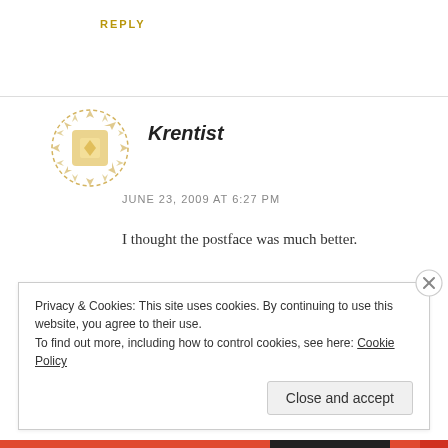REPLY
[Figure (illustration): Circular decorative avatar icon with golden/yellow diamond/quilt pattern]
Krentist
JUNE 23, 2009 AT 6:27 PM
I thought the postface was much better.
REPLY
Privacy & Cookies: This site uses cookies. By continuing to use this website, you agree to their use.
To find out more, including how to control cookies, see here: Cookie Policy
Close and accept